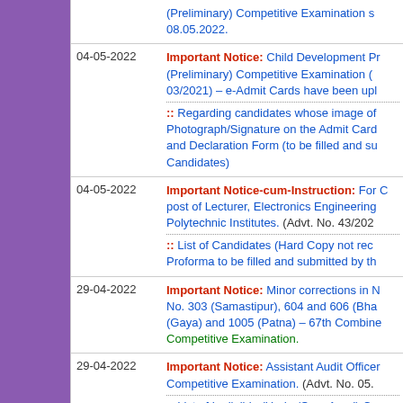| Date | Notice |
| --- | --- |
|  | (Preliminary) Competitive Examination s 08.05.2022. |
| 04-05-2022 | Important Notice: Child Development Pr (Preliminary) Competitive Examination ( 03/2021) – e-Admit Cards have been upl :: Regarding candidates whose image of Photograph/Signature on the Admit Card and Declaration Form (to be filled and su Candidates) |
| 04-05-2022 | Important Notice-cum-Instruction: For C post of Lecturer, Electronics Engineering Polytechnic Institutes. (Advt. No. 43/202 :: List of Candidates (Hard Copy not rec Proforma to be filled and submitted by th |
| 29-04-2022 | Important Notice: Minor corrections in N No. 303 (Samastipur), 604 and 606 (Bha (Gaya) and 1005 (Patna) – 67th Combine Competitive Examination. |
| 29-04-2022 | Important Notice: Assistant Audit Officer Competitive Examination. (Advt. No. 05. :: List of Ineligible (Under/Over Aged) C of Merged Applications |
| 28-04-2022 | Important Notice and Advertisement for Auditor Main (Written) Competitive Exa |